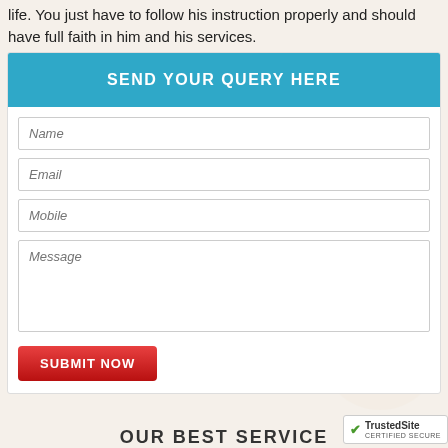life. You just have to follow his instruction properly and should have full faith in him and his services.
[Figure (screenshot): A contact form with header 'SEND YOUR QUERY HERE' in teal/blue, fields for Name, Email, Mobile, Message, and a red SUBMIT NOW button]
[Figure (logo): TrustedSite CERTIFIED SECURE badge with green checkmark]
OUR BEST SERVICE